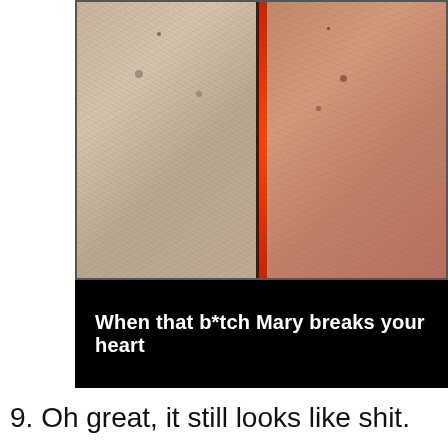[Figure (photo): Two side-by-side skin close-up photos (before/after style) with a black caption bar below reading 'When that b*tch Mary breaks your heart']
9. Oh great, it still looks like shit.
[Figure (photo): Close-up photo of a hairy arm/wrist area with dark fabric visible on the left side]